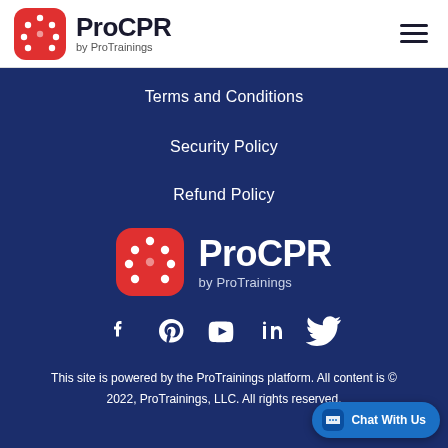[Figure (logo): ProCPR by ProTrainings logo in header — red rounded square icon with white dot pattern, 'ProCPR' in dark bold text, 'by ProTrainings' subtitle]
Terms and Conditions
Security Policy
Refund Policy
[Figure (logo): ProCPR by ProTrainings logo centered on dark blue background — larger red rounded square icon, 'ProCPR' in white bold text, 'by ProTrainings' in light text]
[Figure (infographic): Row of five social media icons in white: Facebook, Pinterest, YouTube, LinkedIn, Twitter]
This site is powered by the ProTrainings platform. All content is © 2022, ProTrainings, LLC. All rights reserved.